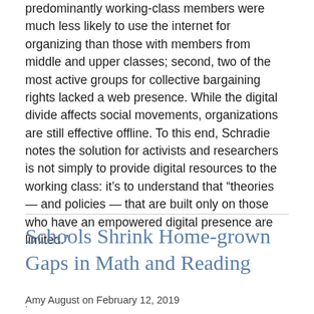predominantly working-class members were much less likely to use the internet for organizing than those with members from middle and upper classes; second, two of the most active groups for collective bargaining rights lacked a web presence. While the digital divide affects social movements, organizations are still effective offline. To this end, Schradie notes the solution for activists and researchers is not simply to provide digital resources to the working class: it's to understand that “theories — and policies — that are built only on those who have an empowered digital presence are limited.”
Schools Shrink Home-grown Gaps in Math and Reading
Amy August on February 12, 2019